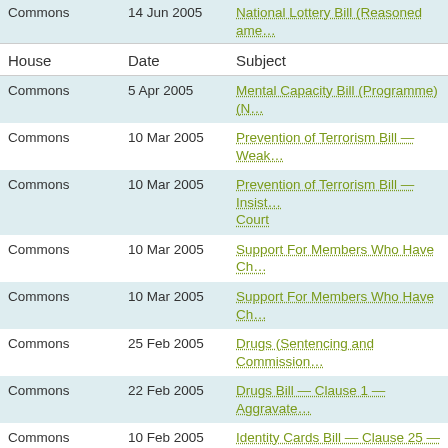| House | Date | Subject |
| --- | --- | --- |
| Commons | 14 Jun 2005 | National Lottery Bill (Reasoned ame... |
| Commons | 5 Apr 2005 | Mental Capacity Bill (Programme) (N... |
| Commons | 10 Mar 2005 | Prevention of Terrorism Bill — Weak... |
| Commons | 10 Mar 2005 | Prevention of Terrorism Bill — Insist... Court |
| Commons | 10 Mar 2005 | Support For Members Who Have Ch... |
| Commons | 10 Mar 2005 | Support For Members Who Have Ch... |
| Commons | 25 Feb 2005 | Drugs (Sentencing and Commission... |
| Commons | 22 Feb 2005 | Drugs Bill — Clause 1 — Aggravate... |
| Commons | 10 Feb 2005 | Identity Cards Bill — Clause 25 — R... |
| Commons | 10 Feb 2005 | Identity Cards Bill — New Clause 1 -... |
| Commons | 4 Feb 2005 | Criminal Law (Amendment) (Househ... |
| Commons | 4 Feb 2005 | Criminal Law (Amendment) (Househ... |
| Commons | 3 Feb 2005 | Child Benefit Bill — New Clause 1 – qualifying courses |
| Commons | 3 Feb 2005 | Serious Organised Crime and Police... |
| Commons | 1 Feb 2005 | Constitutional Reform Bill [Lords] — Parliamentary disqualification |